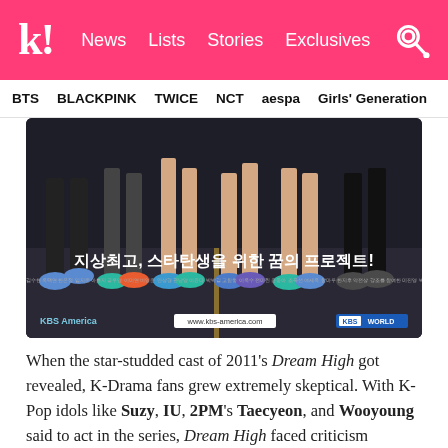k! News Lists Stories Exclusives
BTS  BLACKPINK  TWICE  NCT  aespa  Girls' Generation
[Figure (photo): Promotional image for KBS drama Dream High showing legs of multiple people walking, with Korean text overlay '지상최고, 스타탄생을 위한 꿈의 프로젝트!' and KBS America / KBS World branding at bottom]
When the star-studded cast of 2011's Dream High got revealed, K-Drama fans grew extremely skeptical. With K-Pop idols like Suzy, IU, 2PM's Taecyeon, and Wooyoung said to act in the series, Dream High faced criticism